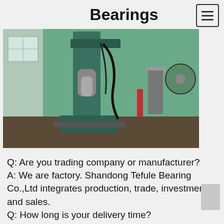Bearings
[Figure (photo): Industrial factory interior showing a large green drilling or pressing machine with a metal spindle/chuck, surrounded by green-painted walls and other equipment in the background.]
Q: Are you trading company or manufacturer?
A: We are factory. Shandong Tefule Bearing Co.,Ltd integrates production, trade, investment and sales.
Q: How long is your delivery time?
A: Generally it is 1-3 days if the goods are in stock. or it is 15-20 days if the goods out of stock, depends on order quantity.
Q: Do you provide samples ? is it free or extra?